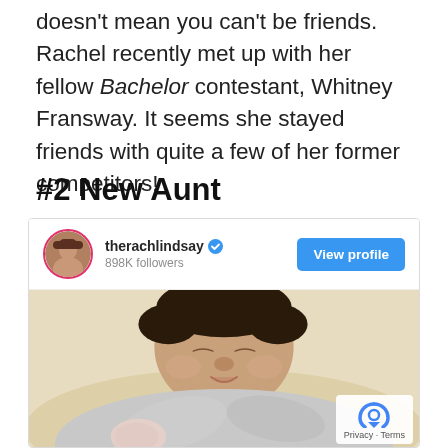doesn't mean you can't be friends. Rachel recently met up with her fellow Bachelor contestant, Whitney Fransway. It seems she stayed friends with quite a few of her former competitors!
#2 New Aunt
[Figure (screenshot): Instagram profile card for @therachlindsay with 898K followers, a 'View profile' button, and a photo of a newborn baby sleeping wrapped in a light grey blanket.]